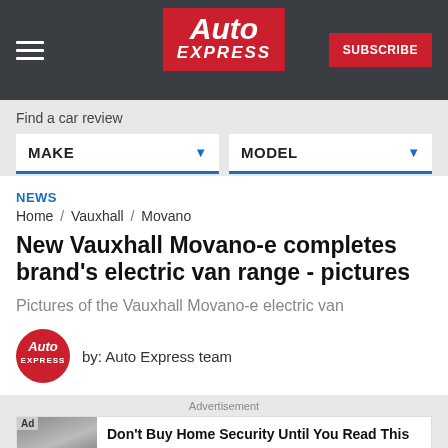Auto Express — SUBSCRIBE
Find a car review
MAKE   MODEL
NEWS
Home / Vauxhall / Movano
New Vauxhall Movano-e completes brand's electric van range - pictures
Pictures of the Vauxhall Movano-e electric van
by: Auto Express team
Advertisement
Ad Don't Buy Home Security Until You Read This SimpliSafe Learn More